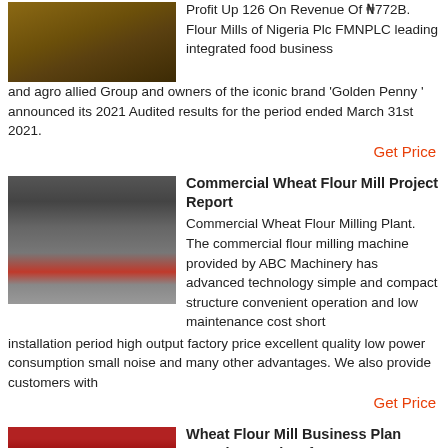Profit Up 126 On Revenue Of ₦772B. Flour Mills of Nigeria Plc FMNPLC leading integrated food business and agro allied Group and owners of the iconic brand 'Golden Penny' announced its 2021 Audited results for the period ended March 31st 2021.
Get Price
[Figure (photo): Industrial machinery - wheat flour mill equipment, brown/earthy tones]
Commercial Wheat Flour Mill Project Report
Commercial Wheat Flour Milling Plant. The commercial flour milling machine provided by ABC Machinery has advanced technology simple and compact structure convenient operation and low maintenance cost short installation period high output factory price excellent quality low power consumption small noise and many other advantages. We also provide customers with
Get Price
[Figure (photo): Red industrial wheat flour mill machinery with pipes and processing equipment]
Wheat Flour Mill Business Plan Sample Template for 2022
The Flour Production Mill industry of which wheat flour mill production line of business is subset of is a thriving sector of the economy of the united states of America and they generates a whooping sum of well over billion annually from more than